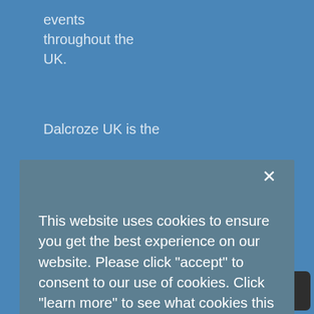events throughout the UK.
Dalcroze UK is the
This website uses cookies to ensure you get the best experience on our website. Please click "accept" to consent to our use of cookies. Click "learn more" to see what cookies this website uses and view our Privacy Policy.
Learn more
Decline
Accept